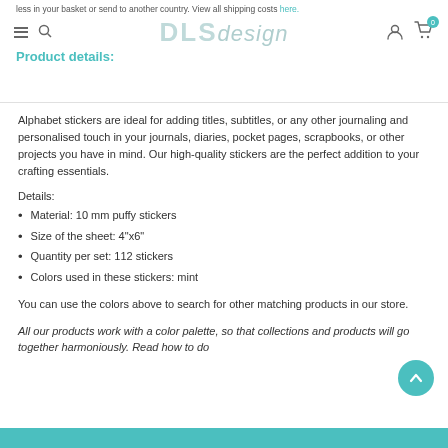less in your basket or send to another country. View all shipping costs here.
Alphabet stickers are ideal for adding titles, subtitles, or any other journaling and personalised touch in your journals, diaries, pocket pages, scrapbooks, or other projects you have in mind. Our high-quality stickers are the perfect addition to your crafting essentials.
Details:
Material: 10 mm puffy stickers
Size of the sheet: 4"x6"
Quantity per set: 112 stickers
Colors used in these stickers: mint
You can use the colors above to search for other matching products in our store.
All our products work with a color palette, so that collections and products will go together harmoniously. Read how to do